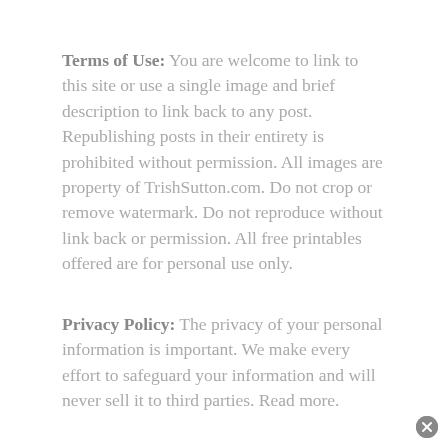Terms of Use: You are welcome to link to this site or use a single image and brief description to link back to any post. Republishing posts in their entirety is prohibited without permission. All images are property of TrishSutton.com. Do not crop or remove watermark. Do not reproduce without link back or permission. All free printables offered are for personal use only.
Privacy Policy: The privacy of your personal information is important. We make every effort to safeguard your information and will never sell it to third parties. Read more.